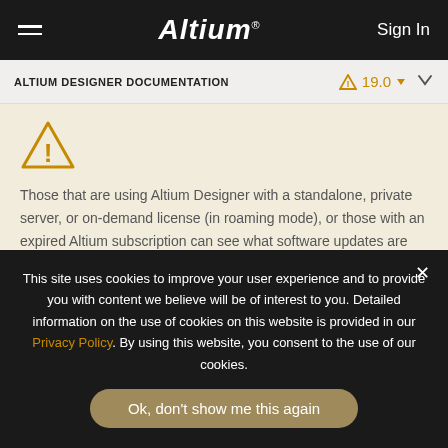Altium | Sign In
ALTIUM DESIGNER DOCUMENTATION | 19.0
Those that are using Altium Designer with a standalone, private server, or on-demand license (in roaming mode), or those with an expired Altium subscription can see what software updates are available regardless of log in status. Note that you need to be logged in and have a valid license/subscription to download and install updates.
This site uses cookies to improve your user experience and to provide you with content we believe will be of interest to you. Detailed information on the use of cookies on this website is provided in our Privacy Policy. By using this website, you consent to the use of our cookies.
Ok, don't show me this again